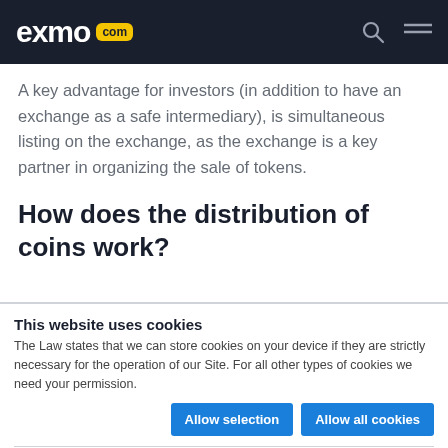exmo .com
A key advantage for investors (in addition to have an exchange as a safe intermediary), is simultaneous listing on the exchange, as the exchange is a key partner in organizing the sale of tokens.
How does the distribution of coins work?
This website uses cookies
The Law states that we can store cookies on your device if they are strictly necessary for the operation of our Site. For all other types of cookies we need your permission.
Allow selection | Allow all cookies
Necessary  Preferences  Statistics  Show details  Marketing